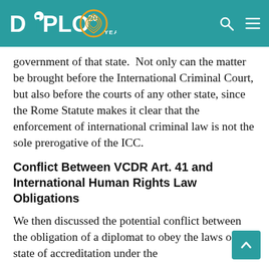DiPLO 20 YEARS
government of that state.  Not only can the matter be brought before the International Criminal Court, but also before the courts of any other state, since the Rome Statute makes it clear that the enforcement of international criminal law is not the sole prerogative of the ICC.
Conflict Between VCDR Art. 41 and International Human Rights Law Obligations
We then discussed the potential conflict between the obligation of a diplomat to obey the laws of the state of accreditation under the